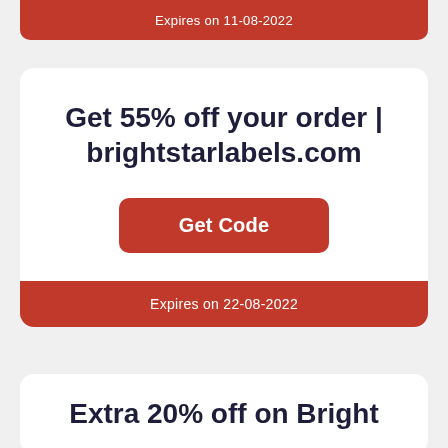Expires on 11-08-2022
Get 55% off your order | brightstarlabels.com
Get Code
Expires on 22-08-2022
Extra 20% off on Bright